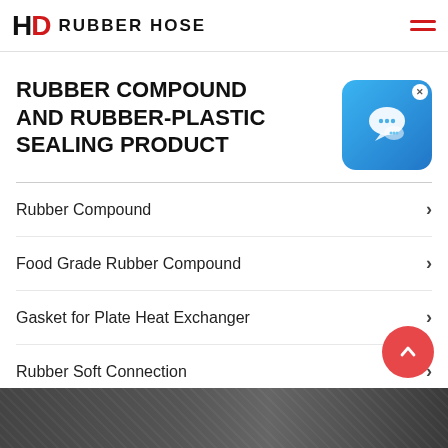HD RUBBER HOSE
RUBBER COMPOUND AND RUBBER-PLASTIC SEALING PRODUCT
[Figure (illustration): Blue chat/messaging app widget icon with speech bubble graphic and close button (x) in top-right corner]
Rubber Compound
Food Grade Rubber Compound
Gasket for Plate Heat Exchanger
Rubber Soft Connection
[Figure (photo): Industrial rubber hose or product photograph at bottom of page (partially visible dark strip)]